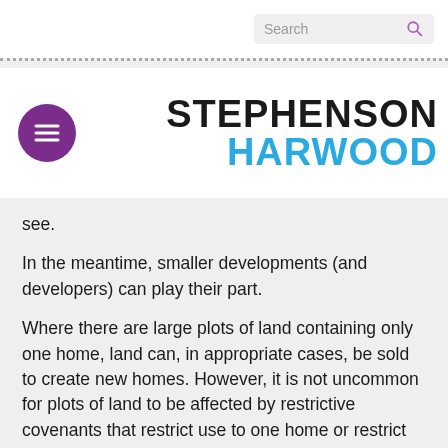[Figure (logo): Stephenson Harwood law firm logo with purple menu button]
see.
In the meantime, smaller developments (and developers) can play their part.
Where there are large plots of land containing only one home, land can, in appropriate cases, be sold to create new homes. However, it is not uncommon for plots of land to be affected by restrictive covenants that restrict use to one home or restrict building without consent.
All may not be lost even if such covenants exist. The Upper Tribunal (Lands Chamber) (the UT) has jurisdiction under section 84(1) of the Law of Property Act 1925 to modify or discharge